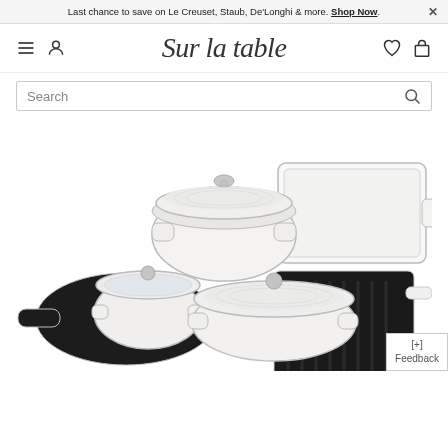Last chance to save on Le Creuset, Staub, De'Longhi & more. Shop Now. ×
[Figure (logo): Sur la table script logo with hamburger menu, person icon, heart icon, and bag icon]
Search
[Figure (photo): White Le Creuset cookware set including dutch oven, skillets, grill pan, and baking dish on white background]
[+] Feedback